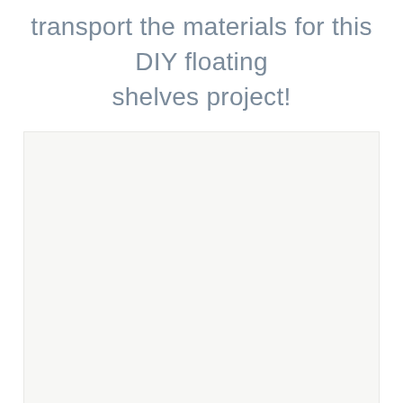transport the materials for this DIY floating shelves project!
[Figure (photo): Large light gray/off-white rectangular placeholder image area for a DIY floating shelves project photo]